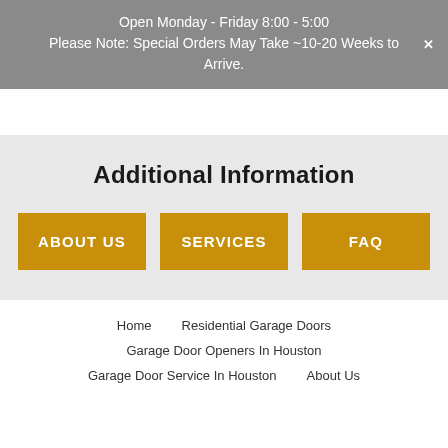Open Monday - Friday 8:00 - 5:00
Please Note: Special Orders May Take ~10-20 Weeks to Arrive.
Additional Information
ABOUT US
SERVICES
FAQ
Home   Residential Garage Doors   Garage Door Openers In Houston   Garage Door Service In Houston   About Us